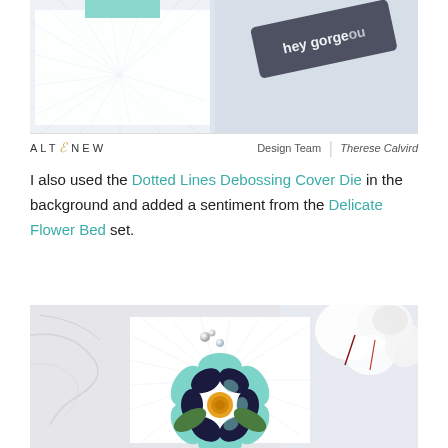[Figure (photo): Close-up photo of a crafting card with dotted lines debossing pattern on white card stock, with a dark navy/black tag element reading 'hey gorgeous' in white text, and a mint/teal accent piece at top. Light blue-grey background.]
ALTENEW  Design Team | Therese Calvird
I also used the Dotted Lines Debossing Cover Die in the background and added a sentiment from the Delicate Flower Bed set.
[Figure (photo): Photo of a handmade greeting card with dotted lines debossing pattern on white card, featuring a large mint and navy layered flower with an orange center and green leaves. Card sits on a marble-patterned surface with pearl/gem embellishments and white real flowers in the background.]